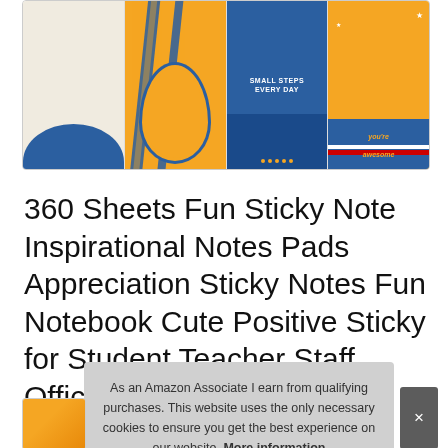[Figure (photo): Product image strip showing four sticky note pad designs: beige/cream pad with blue wave bottom, orange pad with diagonal blue/orange stripes, dark blue pad with 'SMALL STEPS EVERY DAY' text, and orange/blue pad with 'you're awesome' star design]
360 Sheets Fun Sticky Note Inspirational Notes Pads Appreciation Sticky Notes Fun Notebook Cute Positive Sticky for Student Teacher Staff Office Positit Supplies 12 Pieces
As an Amazon Associate I earn from qualifying purchases. This website uses the only necessary cookies to ensure you get the best experience on our website. More information
[Figure (photo): Partial view of product thumbnails at bottom of page showing colorful sticky note designs]